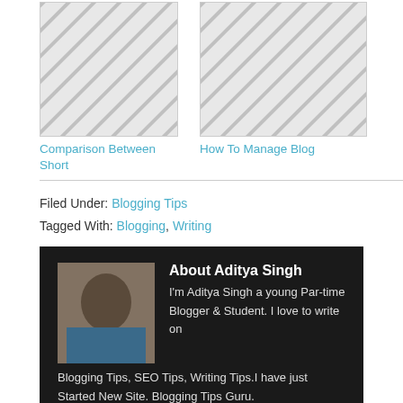[Figure (illustration): Two thumbnail placeholder images with diagonal hatch pattern. Left thumbnail has link title 'Comparison Between Short'. Right thumbnail has link title 'How To Manage Blog'.]
Filed Under: Blogging Tips
Tagged With: Blogging, Writing
[Figure (photo): Author bio box with dark background. Photo of Aditya Singh on left. Text: About Aditya Singh. I'm Aditya Singh a young Par-time Blogger & Student. I love to write on Blogging Tips, SEO Tips, Writing Tips.I have just Started New Site. Blogging Tips Guru.]
Comments